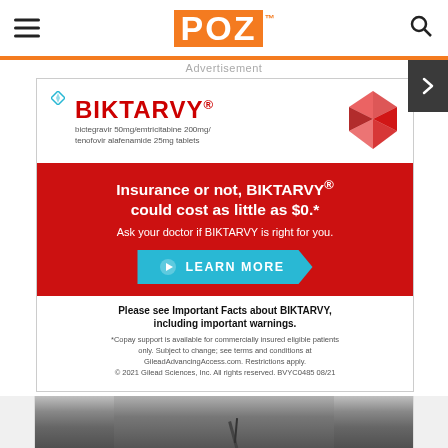POZ
Advertisement
[Figure (advertisement): BIKTARVY pharmaceutical advertisement. Top section shows a red gem/diamond icon and BIKTARVY brand name (bictegravir 50mg/emtricitabine 200mg/tenofovir alafenamide 25mg tablets). Red middle section reads: Insurance or not, BIKTARVY® could cost as little as $0.* Ask your doctor if BIKTARVY is right for you. Blue LEARN MORE button. White bottom section: Please see Important Facts about BIKTARVY, including important warnings. Fine print: *Copay support is available for commercially insured eligible patients only. Subject to change; see terms and conditions at GileadAdvancingAccess.com. Restrictions apply. © 2021 Gilead Sciences, Inc. All rights reserved. BVYC0485 08/21]
[Figure (photo): Black and white photo of a man with glasses and a mustache speaking into a microphone, wearing a white shirt]